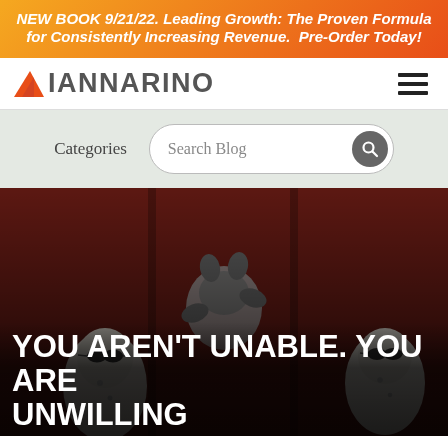NEW BOOK 9/21/22. Leading Growth: The Proven Formula for Consistently Increasing Revenue. Pre-Order Today!
[Figure (logo): Iannarino logo with orange triangle accent and hamburger menu icon]
[Figure (other): Search bar area with Categories link and Search Blog input with magnifying glass icon]
[Figure (photo): Dark reddish-brown background with three small animal figurines (appear to be seals/turtles) wearing sunglasses, clinging to vertical bars]
YOU AREN'T UNABLE. YOU ARE UNWILLING